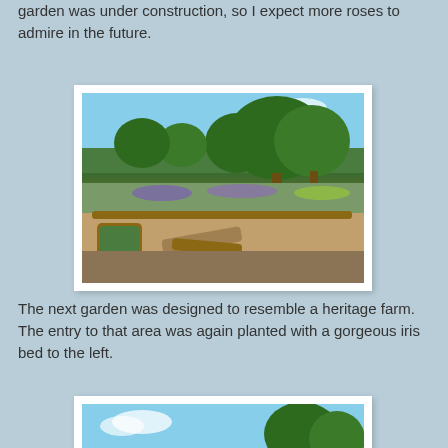garden was under construction, so I expect more roses to admire in the future.
[Figure (photo): Outdoor garden scene with green trees, raised planting beds with purple and colorful flowers, wooden log edging, barrel planters with herbs, and a sandy path under a blue sky.]
The next garden was designed to resemble a heritage farm. The entry to that area was again planted with a gorgeous iris bed to the left.
[Figure (photo): Partial view of another garden area with blue sky and green trees visible at the top of the frame.]